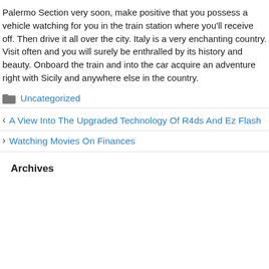Palermo Section very soon, make positive that you possess a vehicle watching for you in the train station where you'll receive off. Then drive it all over the city. Italy is a very enchanting country. Visit often and you will surely be enthralled by its history and beauty. Onboard the train and into the car acquire an adventure right with Sicily and anywhere else in the country.
Uncategorized
A View Into The Upgraded Technology Of R4ds And Ez Flash
Watching Movies On Finances
Archives